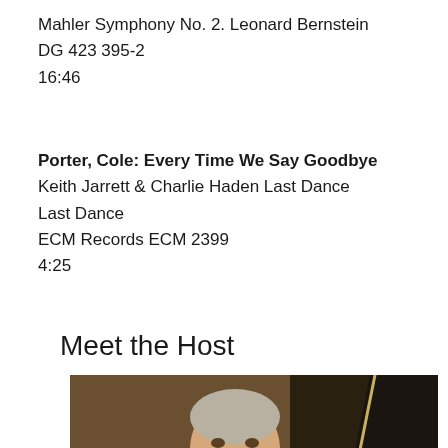Mahler Symphony No. 2. Leonard Bernstein
DG 423 395-2
16:46
Porter, Cole: Every Time We Say Goodbye
Keith Jarrett & Charlie Haden Last Dance
Last Dance
ECM Records ECM 2399
4:25
Meet the Host
[Figure (photo): A smiling older man with grey hair and beard seated at a piano, photographed in warm indoor lighting]